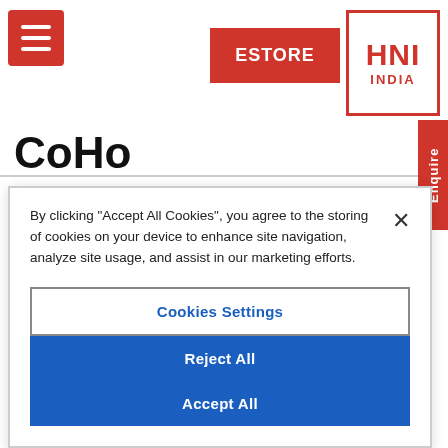[Figure (logo): Red hamburger menu icon (three horizontal white lines on red background) in top left corner]
[Figure (logo): Red ESTORE button in header]
[Figure (logo): HNI INDIA logo — red bordered box with HNI in large red text and INDIA below]
CoHo
By clicking "Accept All Cookies", you agree to the storing of cookies on your device to enhance site navigation, analyze site usage, and assist in our marketing efforts.
Cookies Settings
Reject All
Accept All